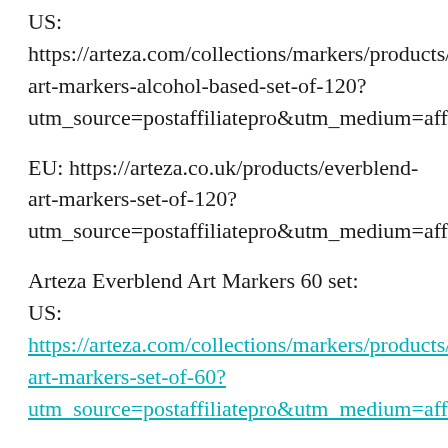US: https://arteza.com/collections/markers/products/everblend-art-markers-alcohol-based-set-of-120?utm_source=postaffiliatepro&utm_medium=affiliate&a_aid=Youtube_JackiesCraftTable&a_bid=fa1eb31d
EU: https://arteza.co.uk/products/everblend-art-markers-set-of-120?utm_source=postaffiliatepro&utm_medium=affiliate&a_aid=Youtube_JackiesCraftTable&a_bid=d7b0ef18
Arteza Everblend Art Markers 60 set:
US:
https://arteza.com/collections/markers/products/everblend-art-markers-set-of-60?utm_source=postaffiliatepro&utm_medium=affiliate&a_aid=Youtube_JackiesCraftTable&a_bid=712fc9f4
EU: